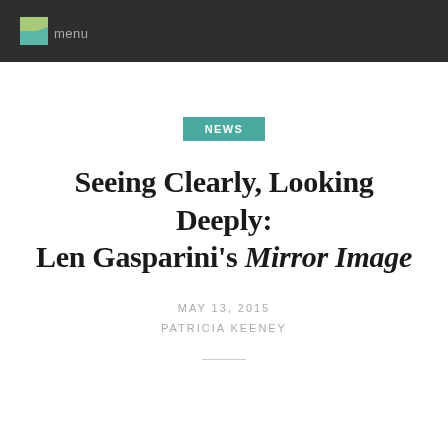menu
NEWS
Seeing Clearly, Looking Deeply: Len Gasparini's Mirror Image
MAY 13, 2015
PATRICIA KEENEY